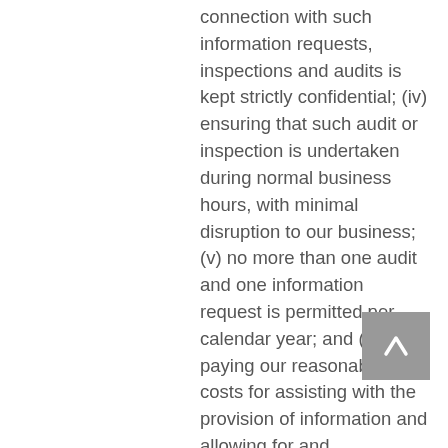connection with such information requests, inspections and audits is kept strictly confidential; (iv) ensuring that such audit or inspection is undertaken during normal business hours, with minimal disruption to our business; (v) no more than one audit and one information request is permitted per calendar year; and (vi) paying our reasonable costs for assisting with the provision of information and allowing for and contributing to inspections and audits; take reasonable steps to ensure the reliability of anyone who we allow to have access to personal data, ensuring that in each case access is limited to those individuals who need to know or access the relevant personal data, as necessary for the purposes of the Terms; and notify the Client without